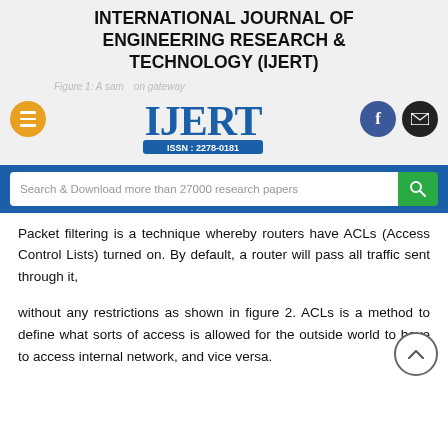INTERNATIONAL JOURNAL OF ENGINEERING RESEARCH & TECHNOLOGY (IJERT)
Figure 1: A sample connection gateway
[Figure (logo): IJERT logo with ISSN: 2278-0181 badge in blue, large bold text IJERT]
Search & Download more than 27000 research papers
Packet filtering is a technique whereby routers have ACLs (Access Control Lists) turned on. By default, a router will pass all traffic sent through it,
without any restrictions as shown in figure 2. ACLs is a method to define what sorts of access is allowed for the outside world to have to access internal network, and vice versa.